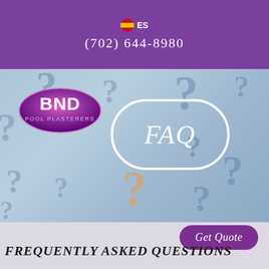ES  (702) 644-8980
[Figure (illustration): BND Pool Plasterers logo oval with purple/magenta gradient, and FAQ text in white italic inside a white rounded rectangle border, set against a blue-grey background covered in 3D question mark characters. A tan/beige 3D question mark is prominent at the bottom center.]
FREQUENTLY ASKED QUESTIONS